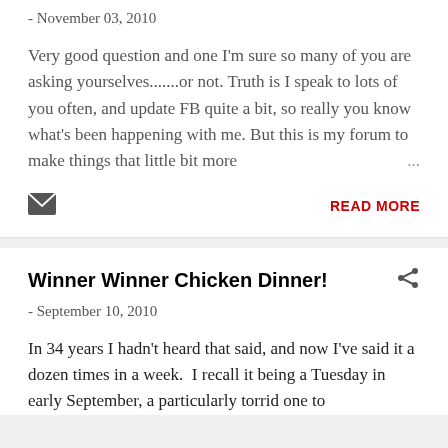- November 03, 2010
Very good question and one I'm sure so many of you are asking yourselves.......or not. Truth is I speak to lots of you often, and update FB quite a bit, so really you know what's been happening with me. But this is my forum to make things that little bit more ...
READ MORE
Winner Winner Chicken Dinner!
- September 10, 2010
In 34 years I hadn't heard that said, and now I've said it a dozen times in a week.  I recall it being a Tuesday in early September, a particularly torrid one to